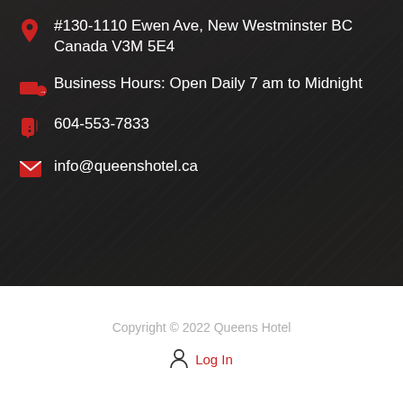#130-1110 Ewen Ave, New Westminster BC Canada V3M 5E4
Business Hours: Open Daily 7 am to Midnight
604-553-7833
info@queenshotel.ca
Copyright © 2022 Queens Hotel
Log In